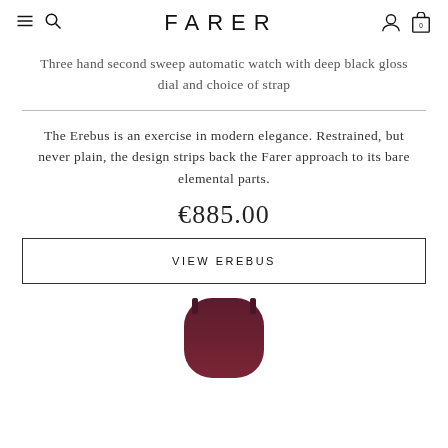FARER
Three hand second sweep automatic watch with deep black gloss dial and choice of strap
The Erebus is an exercise in modern elegance. Restrained, but never plain, the design strips back the Farer approach to its bare elemental parts.
€885.00
VIEW EREBUS
[Figure (photo): Partial view of a dark burgundy/maroon watch strap at the bottom of the page]